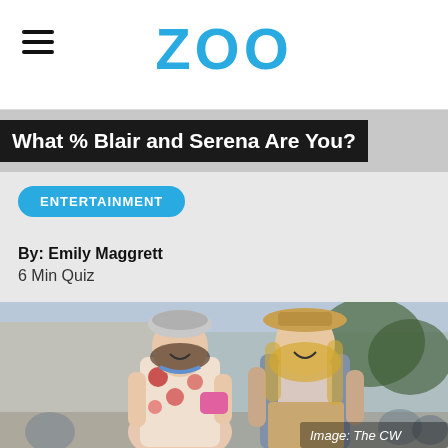ZOO
What % Blair and Serena Are You?
ENTERTAINMENT
By: Emily Maggrett
6 Min Quiz
[Figure (photo): Two young women laughing outdoors in stylish outfits — one wearing a white beret and floral dress, the other in a hat and blazer. Image credit: The CW]
Image: The CW